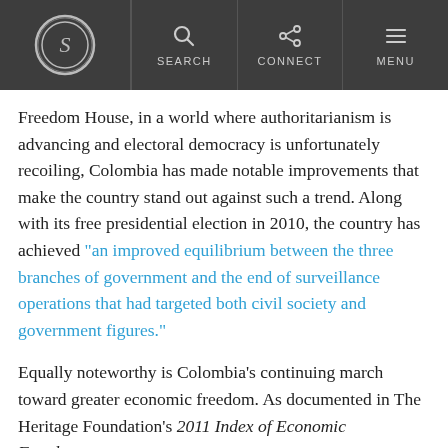S | SEARCH | CONNECT | MENU
Freedom House, in a world where authoritarianism is advancing and electoral democracy is unfortunately recoiling, Colombia has made notable improvements that make the country stand out against such a trend. Along with its free presidential election in 2010, the country has achieved “an improved equilibrium between the three branches of government and the end of surveillance operations that had targeted both civil society and government figures.”
Equally noteworthy is Colombia’s continuing march toward greater economic freedom. As documented in The Heritage Foundation’s 2011 Index of Economic Freedom, and its ongoing media ranking of 170…